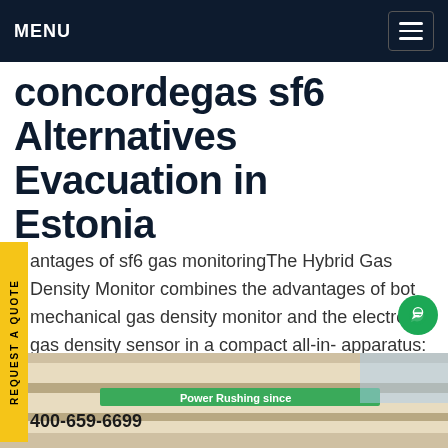MENU
concordegas sf6 Alternatives Evacuation in Estonia
advantages of sf6 gas monitoringThe Hybrid Gas Density Monitor combines the advantages of both mechanical gas density monitor and the electronic gas density sensor in a compact all-in- apparatus: With its analogue or digital output it is ideal gas density monitor for smart online SF6 management systems. It also has a local gas pressure indication and alarm contacts.Get price
[Figure (photo): Exterior building sign showing phone number 400-659-6699]